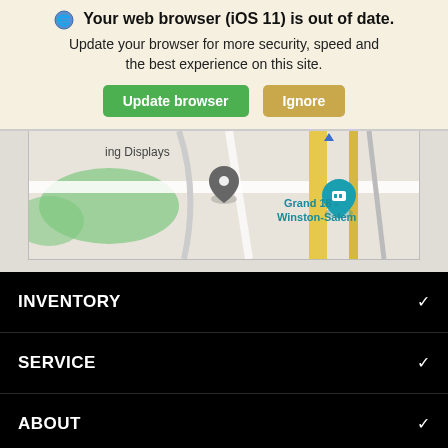🌐 Your web browser (iOS 11) is out of date. Update your browser for more security, speed and the best experience on this site.
Update browser | Ignore
[Figure (map): Google Maps view showing Grand 18 - Winston-Salem cinema location with pin, nearby roads and green areas]
INVENTORY
SERVICE
ABOUT
Accessibility | Search | Contact | Glovebox